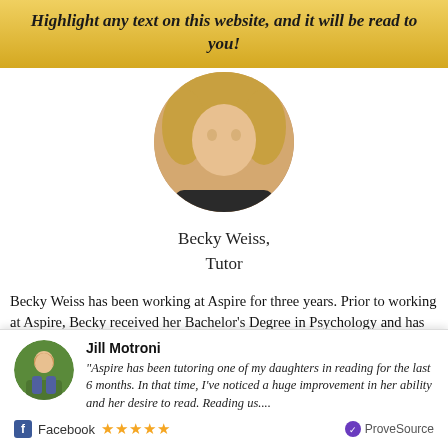Highlight any text on this website, and it will be read to you!
[Figure (photo): Circular cropped profile photo of Becky Weiss, a woman with blonde hair]
Becky Weiss,
Tutor
Becky Weiss has been working at Aspire for three years. Prior to working at Aspire, Becky received her Bachelor's Degree in Psychology and has her Master's coursework in Counseling. She also homeschooled her younger son his
[Figure (photo): Circular profile photo of Jill Motroni, a woman sitting outdoors]
Jill Motroni
"Aspire has been tutoring one of my daughters in reading for the last 6 months. In that time, I've noticed a huge improvement in her ability and her desire to read. Reading us...."
Facebook ★★★★★ ProveSource